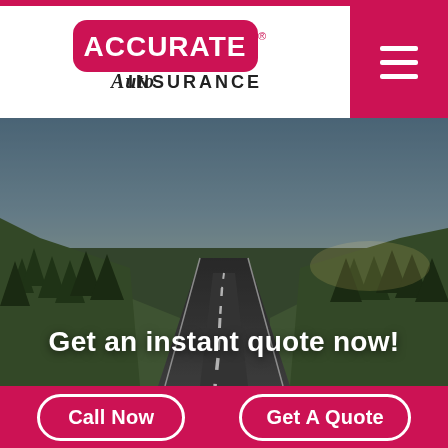[Figure (logo): Accurate Auto Insurance logo — pink rounded rectangle with 'ACCURATE' in white bold text, 'Auto' in black italic script below, 'INSURANCE' in black sans-serif]
[Figure (photo): Road stretching into the distance flanked by green forested hillsides and tall pine trees under a partly cloudy sky, with a dark overlay]
Get an instant quote now!
Enter ZIP Code
Auto
Call Now
Get A Quote